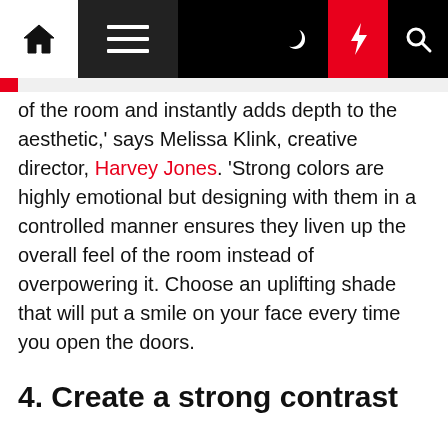Home | Menu | Moon | Bolt | Search
of the room and instantly adds depth to the aesthetic,' says Melissa Klink, creative director, Harvey Jones. 'Strong colors are highly emotional but designing with them in a controlled manner ensures they liven up the overall feel of the room instead of overpowering it. Choose an uplifting shade that will put a smile on your face every time you open the doors.
4. Create a strong contrast